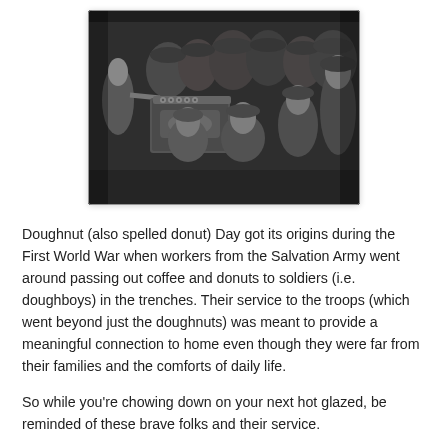[Figure (photo): Black and white historical photograph showing Salvation Army workers distributing doughnuts and coffee to WWI soldiers in helmets gathered around a crate/cart. A woman in a dress is seen serving from the left side.]
Doughnut (also spelled donut) Day got its origins during the First World War when workers from the Salvation Army went around passing out coffee and donuts to soldiers (i.e. doughboys) in the trenches. Their service to the troops (which went beyond just the doughnuts) was meant to provide a meaningful connection to home even though they were far from their families and the comforts of daily life.
So while you're chowing down on your next hot glazed, be reminded of these brave folks and their service.